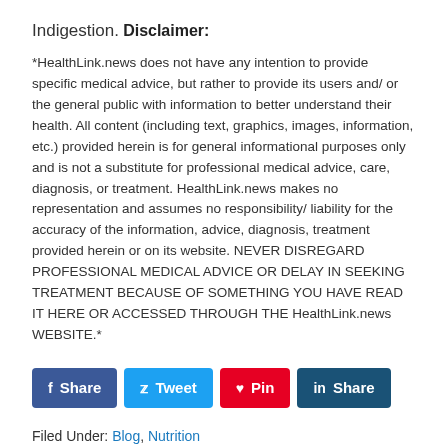Indigestion.
Disclaimer:
*HealthLink.news does not have any intention to provide specific medical advice, but rather to provide its users and/ or the general public with information to better understand their health. All content (including text, graphics, images, information, etc.) provided herein is for general informational purposes only and is not a substitute for professional medical advice, care, diagnosis, or treatment. HealthLink.news makes no representation and assumes no responsibility/ liability for the accuracy of the information, advice, diagnosis, treatment provided herein or on its website. NEVER DISREGARD PROFESSIONAL MEDICAL ADVICE OR DELAY IN SEEKING TREATMENT BECAUSE OF SOMETHING YOU HAVE READ IT HERE OR ACCESSED THROUGH THE HealthLink.news WEBSITE.*
Share buttons: Share (Facebook), Tweet (Twitter), Pin (Pinterest), Share (LinkedIn)
Filed Under: Blog, Nutrition